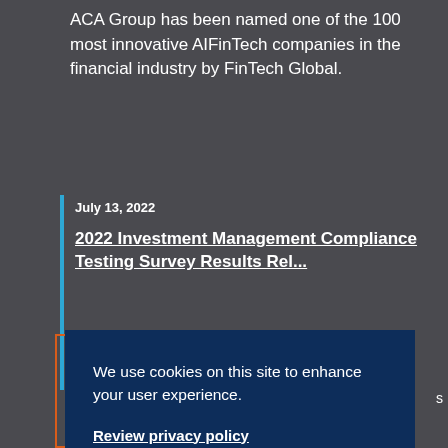ACA Group has been named one of the 100 most innovative AIFinTech companies in the financial industry by FinTech Global.
July 13, 2022
2022 Investment Management Compliance Testing Survey Results Released
We use cookies on this site to enhance your user experience.
Review privacy policy
Dismiss